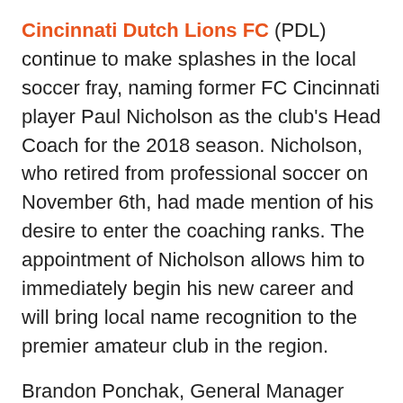Cincinnati Dutch Lions FC (PDL) continue to make splashes in the local soccer fray, naming former FC Cincinnati player Paul Nicholson as the club's Head Coach for the 2018 season. Nicholson, who retired from professional soccer on November 6th, had made mention of his desire to enter the coaching ranks. The appointment of Nicholson allows him to immediately begin his new career and will bring local name recognition to the premier amateur club in the region.
Brandon Ponchak, General Manager and Assistant Coach of CDLFC commented, "the Cincinnati Dutch Lions have created a highly professional environment for players to develop, compete, and excel. Prospective professional players can achieve their dreams of professional soccer through CDLFC as five players have already moved into the professional ranks and with more signings coming soon. Landing a coach like Paul is an incredible grab for our club. But here the PDL coaches often bounce between the two clubs